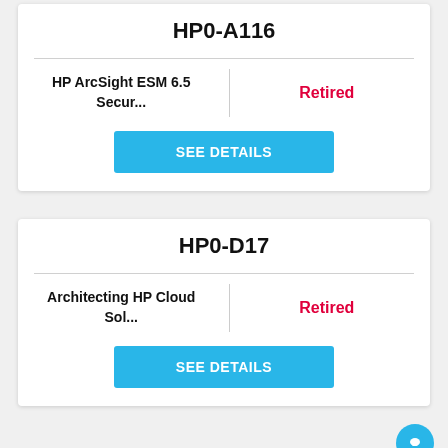HP0-A116
HP ArcSight ESM 6.5 Secur...
Retired
SEE DETAILS
HP0-D17
Architecting HP Cloud Sol...
Retired
SEE DETAILS